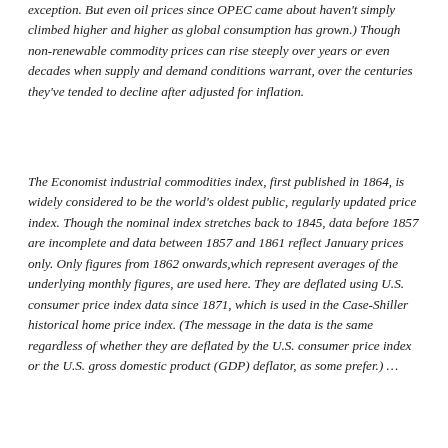exception. But even oil prices since OPEC came about haven't simply climbed higher and higher as global consumption has grown.) Though non-renewable commodity prices can rise steeply over years or even decades when supply and demand conditions warrant, over the centuries they've tended to decline after adjusted for inflation.
The Economist industrial commodities index, first published in 1864, is widely considered to be the world's oldest public, regularly updated price index. Though the nominal index stretches back to 1845, data before 1857 are incomplete and data between 1857 and 1861 reflect January prices only. Only figures from 1862 onwards,which represent averages of the underlying monthly figures, are used here. They are deflated using U.S. consumer price index data since 1871, which is used in the Case-Shiller historical home price index. (The message in the data is the same regardless of whether they are deflated by the U.S. consumer price index or the U.S. gross domestic product (GDP) deflator, as some prefer.) …